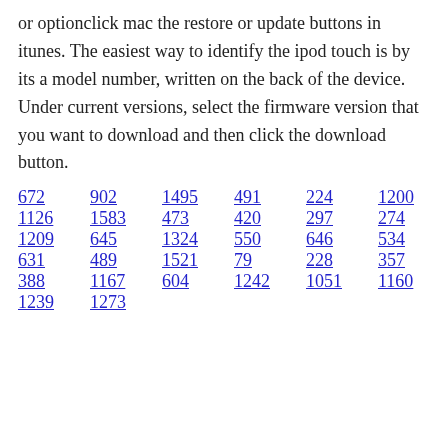or optionclick mac the restore or update buttons in itunes. The easiest way to identify the ipod touch is by its a model number, written on the back of the device. Under current versions, select the firmware version that you want to download and then click the download button.
672  902  1495  491  224  1200
1126  1583  473  420  297  274
1209  645  1324  550  646  534
631  489  1521  79  228  357  205
388  1167  604  1242  1051  1160
1239  1273